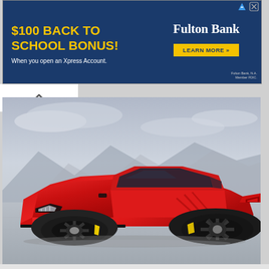[Figure (screenshot): Fulton Bank advertisement banner with dark blue background. Left side shows '$100 BACK TO SCHOOL BONUS!' in yellow bold text and 'When you open an Xpress Account.' in white below. Right side shows 'Fulton Bank' logo in white serif font, a yellow 'LEARN MORE »' button, and small FDIC disclaimer text in bottom right corner. Top right has small navigation icons.]
[Figure (photo): Red Ferrari supercar (SF90 Stradale) photographed in a dramatic outdoor setting with mountains and cloudy sky in background. The car is shown from a front three-quarter angle, displaying its aggressive aerodynamic styling, dark alloy wheels with yellow brake calipers, and distinctive Ferrari design elements including the prancing horse badge. The setting appears to be a salt flat or dry lakebed.]
[Figure (screenshot): Partial view of a second advertisement at the bottom of the page, showing a gray background with an X close button in the bottom right corner.]